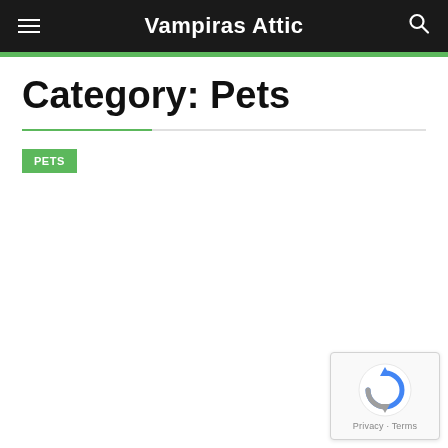Vampiras Attic
Category: Pets
PETS